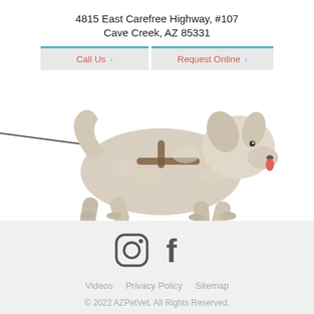4815 East Carefree Highway, #107
Cave Creek, AZ 85331
Call Us  ›
Request Online  ›
[Figure (photo): A white fluffy small dog on a leash wearing a harness, walking against a white background]
[Figure (other): Instagram and Facebook social media icons]
Videos   Privacy Policy   Sitemap
© 2022 AZPetVet. All Rights Reserved.